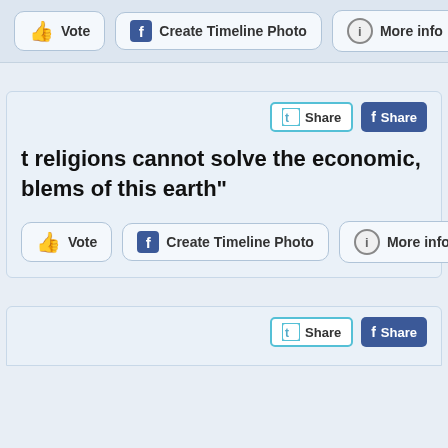[Figure (screenshot): Top action bar with Vote, Create Timeline Photo, and More info buttons]
[Figure (screenshot): Card with Twitter Share and Facebook Share buttons, followed by partial quote text: 't religions cannot solve the economic, blems of this earth"', then Vote, Create Timeline Photo, More info buttons]
[Figure (screenshot): Bottom partial card with Twitter Share and Facebook Share buttons]